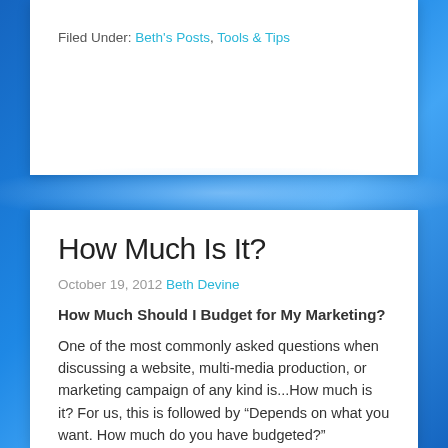Filed Under: Beth's Posts, Tools & Tips
How Much Is It?
October 19, 2012 Beth Devine
How Much Should I Budget for My Marketing?
One of the most commonly asked questions when discussing a website, multi-media production, or marketing campaign of any kind is...How much is it? For us, this is followed by “Depends on what you want. How much do you have budgeted?”